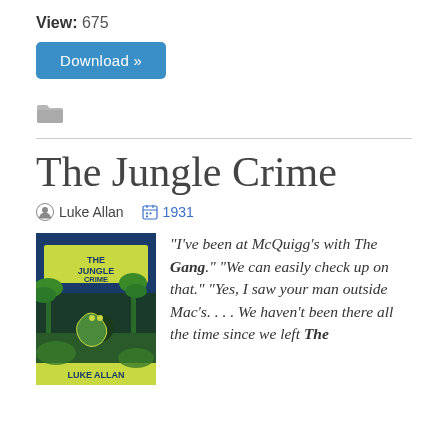View: 675
Download »
[Figure (illustration): Folder icon]
The Jungle Crime
Luke Allan  1931
[Figure (illustration): Book cover of 'The Jungle Crime' by Luke Allan, showing a jungle scene with palm trees in green and dark blue colors]
"I've been at McQuigg's with The Gang." "We can easily check up on that." "Yes, I saw your man outside Mac's. . . . We haven't been there all the time since we left The